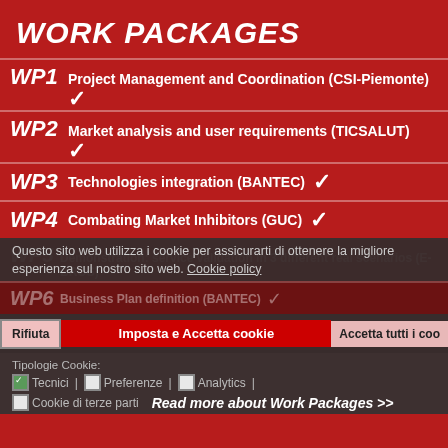WORK PACKAGES
WP1 Project Management and Coordination (CSI-Piemonte) ✓
WP2 Market analysis and user requirements (TICSALUT) ✓
WP3 Technologies integration (BANTEC) ✓
WP4 Combating Market Inhibitors (GUC) ✓
WP5 Demonstration: service validation in 3 different real scenarios (E-BROS)
WP6 Business Plan definition (BANTEC) ✓
Questo sito web utilizza i cookie per assicurarti di ottenere la migliore esperienza sul nostro sito web. Cookie policy
WP7 Dissemination (E-BROS)
Rifiuta | Imposta e Accetta cookie | Accetta tutti i cookie
Tipologie Cookie: Tecnici | Preferenze | Analytics | Cookie di terze parti
Read more about Work Packages >>